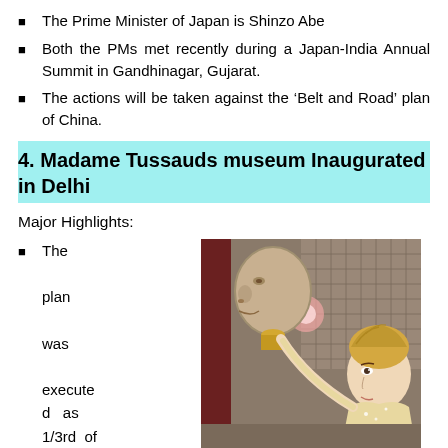The Prime Minister of Japan is Shinzo Abe
Both the PMs met recently during a Japan-India Annual Summit in Gandhinagar, Gujarat.
The actions will be taken against the ‘Belt and Road’ plan of China.
4. Madame Tussauds museum Inaugurated in Delhi
Major Highlights:
The plan was executed as 1/3rd of
[Figure (photo): Photo of a woman looking at a wax figure head being held up, inside Madame Tussauds museum]